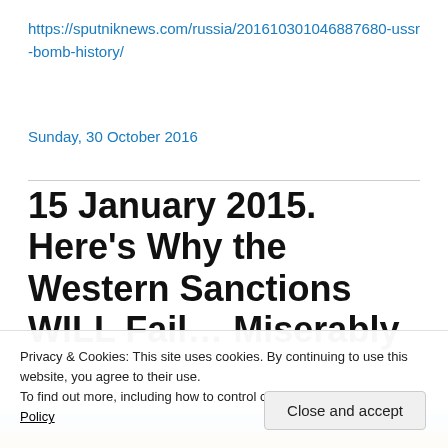https://sputniknews.com/russia/201610301046887680-ussr-bomb-history/
Sunday, 30 October 2016
15 January 2015. Here’s Why the Western Sanctions WILL Fail… Miserably
Privacy & Cookies: This site uses cookies. By continuing to use this website, you agree to their use.
To find out more, including how to control cookies, see here: Cookie Policy
Close and accept
[Figure (photo): Partial view of a military aircraft, bottom strip of image visible]